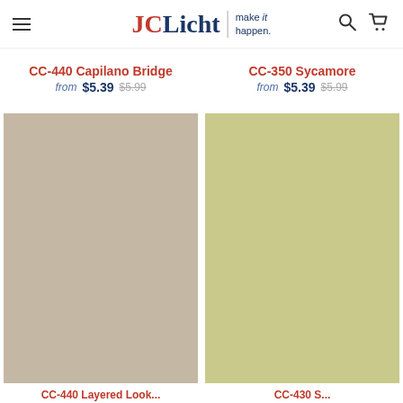JCLicht make it happen.
CC-440 Capilano Bridge from $5.39 $5.99
CC-350 Sycamore from $5.39 $5.99
[Figure (illustration): Color swatch square in a warm greige/taupe tone for CC-440 Layered Look]
[Figure (illustration): Color swatch square in a muted yellow-green/sage tone for CC-430 S...]
CC-440 Layered...
CC-430 S...